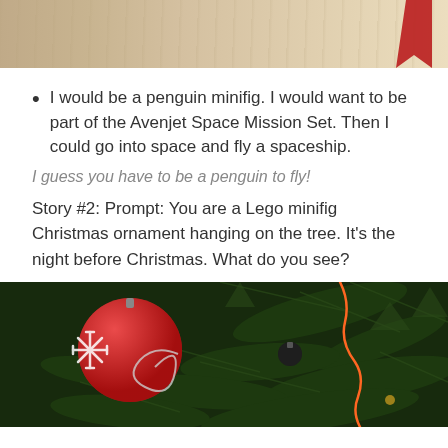[Figure (photo): Top portion of a photo showing a wooden floor surface with a red object partially visible in the top right corner]
I would be a penguin minifig.  I would want to be part of the Avenjet Space Mission Set.  Then I could go into space and fly a spaceship.
I guess you have to be a penguin to fly!
Story #2:  Prompt: You are  a Lego minifig Christmas ornament hanging on the tree.  It's the night before Christmas.  What do you see?
[Figure (photo): Photo of Christmas tree decorations showing a red ornament with white snowflake design and swirl wire, green pine branches, and an orange wire or cord hanging from the tree]